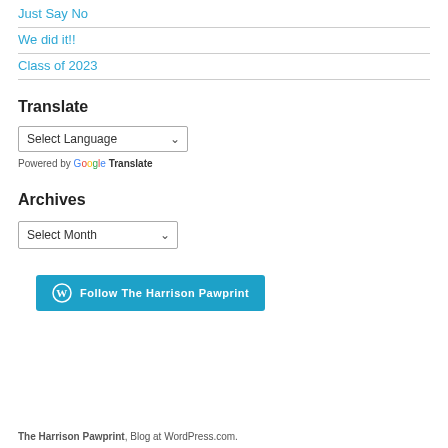Just Say No
We did it!!
Class of 2023
Translate
Select Language
Powered by Google Translate
Archives
Select Month
Follow The Harrison Pawprint
The Harrison Pawprint. Blog at WordPress.com.